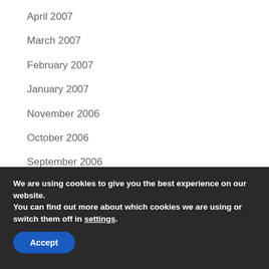April 2007
March 2007
February 2007
January 2007
November 2006
October 2006
September 2006
June 2006
May 2006
March 2006
We are using cookies to give you the best experience on our website.
You can find out more about which cookies we are using or switch them off in settings.
Accept